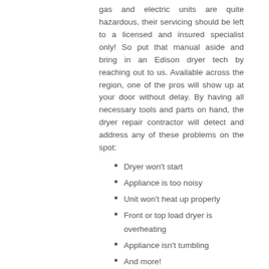gas and electric units are quite hazardous, their servicing should be left to a licensed and insured specialist only! So put that manual aside and bring in an Edison dryer tech by reaching out to us. Available across the region, one of the pros will show up at your door without delay. By having all necessary tools and parts on hand, the dryer repair contractor will detect and address any of these problems on the spot:
Dryer won't start
Appliance is too noisy
Unit won't heat up properly
Front or top load dryer is overheating
Appliance isn't tumbling
And more!
From dryer installation to routine service, we are the right people for any job